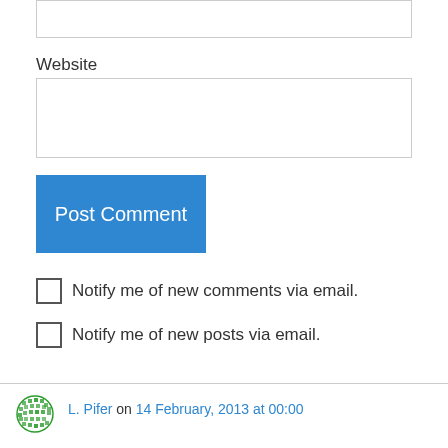(input box top)
Website
(website input box)
Post Comment
Notify me of new comments via email.
Notify me of new posts via email.
L. Pifer on 14 February, 2013 at 00:00
I found everyone's comments fascinating and worthwhile. I've seen many “dogmas” overturned. Remember when we thought that